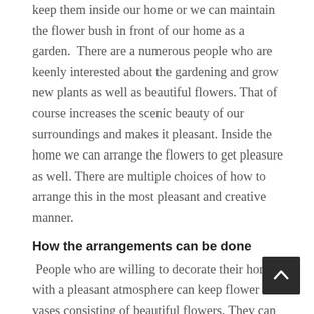keep them inside our home or we can maintain the flower bush in front of our home as a garden. There are a numerous people who are keenly interested about the gardening and grow new plants as well as beautiful flowers. That of course increases the scenic beauty of our surroundings and makes it pleasant. Inside the home we can arrange the flowers to get pleasure as well. There are multiple choices of how to arrange this in the most pleasant and creative manner.
How the arrangements can be done
People who are willing to decorate their homes with a pleasant atmosphere can keep flower vases consisting of beautiful flowers. They can have some flowers with essence also, which keep the rooms fresh and make us feel very close to the nature. There are many ideas about what kind of cases we can decorate our room with. We can keep it on some table or beside our bed